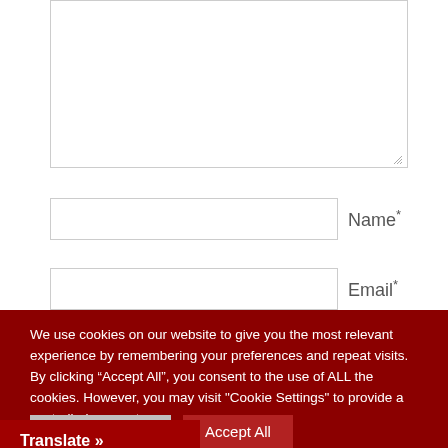[Figure (screenshot): Web form with a large textarea (partially visible at top), a Name input field with asterisk label, and an Email input field with asterisk label partially visible]
We use cookies on our website to give you the most relevant experience by remembering your preferences and repeat visits. By clicking “Accept All”, you consent to the use of ALL the cookies. However, you may visit "Cookie Settings" to provide a controlled consent.
Cookie Settings
Accept All
Translate »